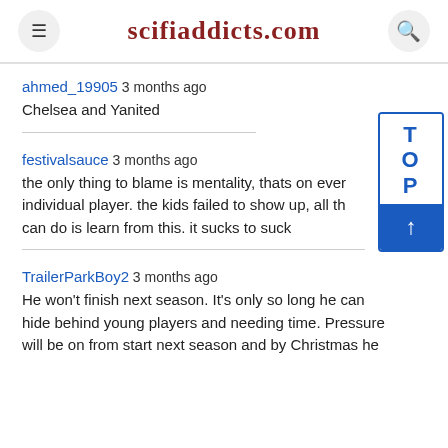scifiaddicts.com
ahmed_19905 3 months ago
Chelsea and Yanited
festivalsauce 3 months ago
the only thing to blame is mentality, thats on every individual player. the kids failed to show up, all they can do is learn from this. it sucks to suck
TrailerParkBoy2 3 months ago
He won't finish next season. It's only so long he can hide behind young players and needing time. Pressure will be on from start next season and by Christmas he